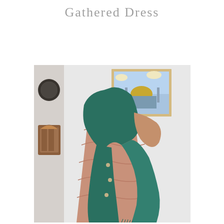Gathered Dress
[Figure (photo): A woman wearing a teal/dark green hijab and a dusty rose/pink gathered dress, smiling and looking to the side. She is standing in front of a light grey wall with a framed painting of the Dome of the Rock in the background, and a wooden decorative item on the left wall.]